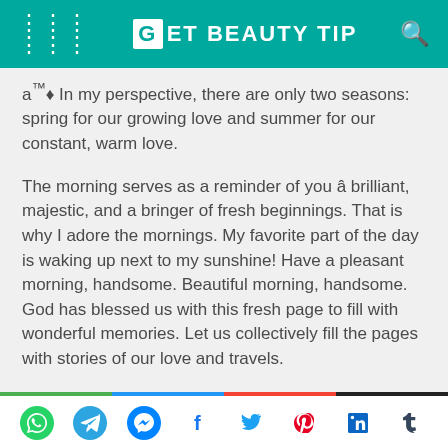GET BEAUTY TIP
a™♦ In my perspective, there are only two seasons: spring for our growing love and summer for our constant, warm love.
The morning serves as a reminder of you â brilliant, majestic, and a bringer of fresh beginnings. That is why I adore the mornings. My favorite part of the day is waking up next to my sunshine! Have a pleasant morning, handsome. Beautiful morning, handsome. God has blessed us with this fresh page to fill with wonderful memories. Let us collectively fill the pages with stories of our love and travels.
This collection of...
Share icons: WhatsApp, Telegram, Messenger, Facebook, Twitter, Pinterest, LinkedIn, Tumblr